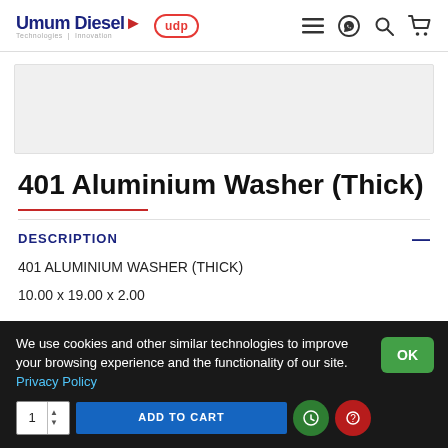Umum Diesel Technologies | Innovation — UDP — Navigation icons
[Figure (other): Product image placeholder area — light grey rectangle]
401 Aluminium Washer (Thick)
DESCRIPTION
401 ALUMINIUM WASHER (THICK)
10.00 x 19.00 x 2.00
We use cookies and other similar technologies to improve your browsing experience and the functionality of our site.
Privacy Policy